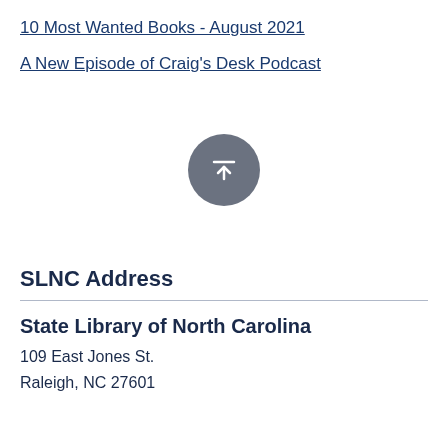10 Most Wanted Books - August 2021
A New Episode of Craig's Desk Podcast
[Figure (other): A circular scroll-to-top button with a grey background, a horizontal line at the top and an upward-pointing arrow beneath it, rendered in white.]
SLNC Address
State Library of North Carolina
109 East Jones St.
Raleigh, NC 27601